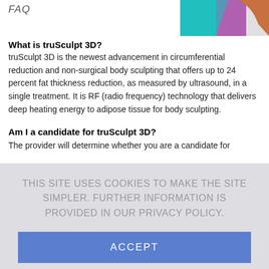FAQ
[Figure (photo): Partial image of truSculpt 3D device or treatment — teal and purple/orange colors visible in top right corner]
What is truSculpt 3D?
truSculpt 3D is the newest advancement in circumferential reduction and non-surgical body sculpting that offers up to 24 percent fat thickness reduction, as measured by ultrasound, in a single treatment. It is RF (radio frequency) technology that delivers deep heating energy to adipose tissue for body sculpting.
Am I a candidate for truSculpt 3D?
The provider will determine whether you are a candidate for
THIS SITE USES COOKIES TO MAKE THE SITE SIMPLER. FURTHER INFORMATION IS PROVIDED IN OUR PRIVACY POLICY.
ACCEPT